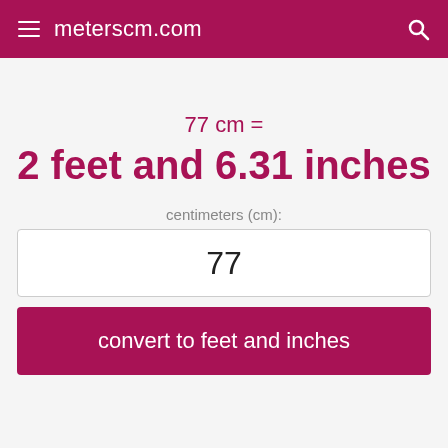meterscm.com
77 cm =
2 feet and 6.31 inches
centimeters (cm):
77
convert to feet and inches